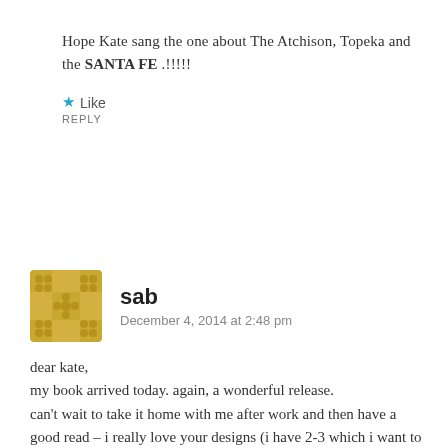Hope Kate sang the one about The Atchison, Topeka and the SANTA FE .!!!!!
★ Like
REPLY
sab
December 4, 2014 at 2:48 pm
dear kate,
my book arrived today. again, a wonderful release.
can't wait to take it home with me after work and then have a good read – i really love your designs (i have 2-3 which i want to knit within the next year), but i'm also very curious to read the introducing articles.
i've always loved your articles: they always feature interesting